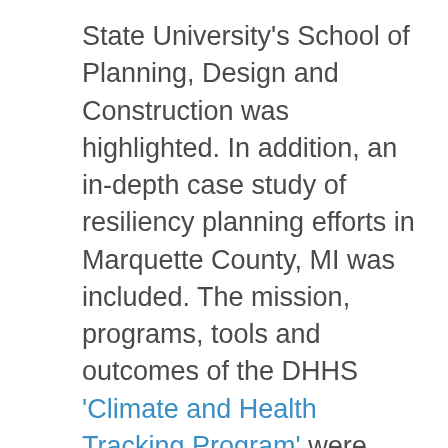State University's School of Planning, Design and Construction was highlighted. In addition, an in-depth case study of resiliency planning efforts in Marquette County, MI was included. The mission, programs, tools and outcomes of the DHHS 'Climate and Health Tracking Program' were discussed at length with a call-to-action for attendees to better understand data trends and the intersections between health and climate change.
When it comes to natural infrastructure, greenways or